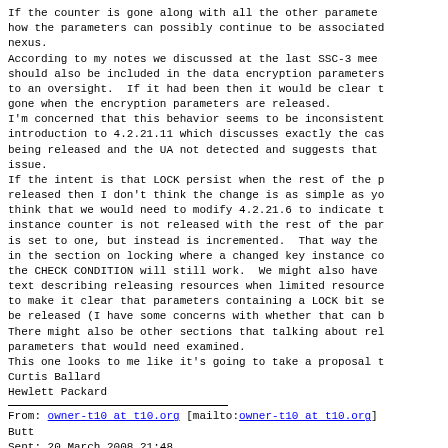If the counter is gone along with all the other paramete how the parameters can possibly continue to be associated nexus.
According to my notes we discussed at the last SSC-3 mee should also be included in the data encryption parameters to an oversight.  If it had been then it would be clear t gone when the encryption parameters are released.
I'm concerned that this behavior seems to be inconsistent introduction to 4.2.21.11 which discusses exactly the cas being released and the UA not detected and suggests that issue.
If the intent is that LOCK persist when the rest of the p released then I don't think the change is as simple as yo think that we would need to modify 4.2.21.6 to indicate t instance counter is not released with the rest of the par is set to one, but instead is incremented.  That way the in the section on locking where a changed key instance co the CHECK CONDITION will still work.  We might also have text describing releasing resources when limited resource to make it clear that parameters containing a LOCK bit se be released (I have some concerns with whether that can b There might also be other sections that talking about rel parameters that would need examined.
This one looks to me like it's going to take a proposal t
Curtis Ballard
Hewlett Packard
From: owner-t10 at t10.org [mailto:owner-t10 at t10.org]
Butt
Sent: 20 March 2008 21:48